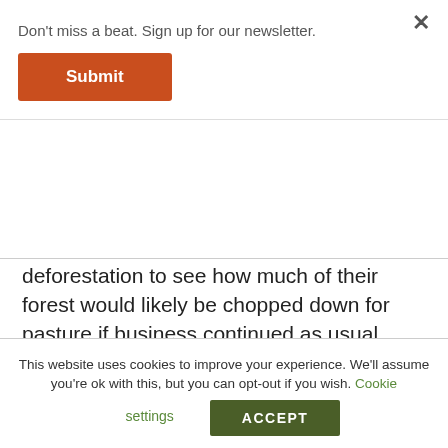Don't miss a beat. Sign up for our newsletter.
Submit
deforestation to see how much of their forest would likely be chopped down for pasture if business continued as usual. Then, using satellite imagery, they compared the forest with other unguarded forested areas nearby and concluded about 170 hectares per year (5,000 hectares total) would be lost to cattle ranching, agriculture, and selective logging if defensive actions weren't taken immediately.
This website uses cookies to improve your experience. We'll assume you're ok with this, but you can opt-out if you wish. Cookie settings ACCEPT